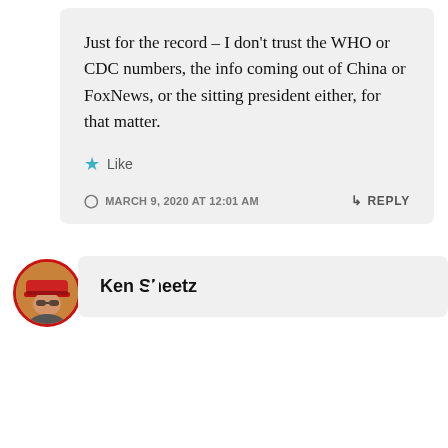Just for the record – I don't trust the WHO or CDC numbers, the info coming out of China or FoxNews, or the sitting president either, for that matter.
★ Like
MARCH 9, 2020 AT 12:01 AM
↳ REPLY
[Figure (photo): Avatar photo of a person wearing a red cap, circular with red border]
Ken Sheetz